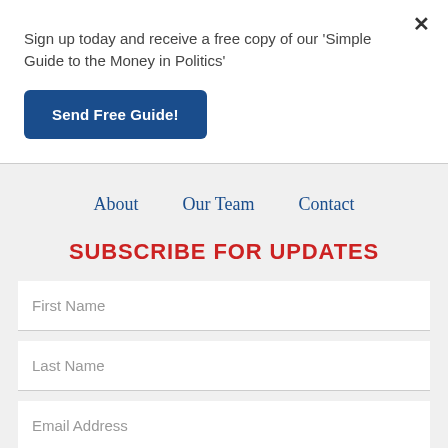Sign up today and receive a free copy of our 'Simple Guide to the Money in Politics'
Send Free Guide!
×
About   Our Team   Contact
SUBSCRIBE FOR UPDATES
First Name
Last Name
Email Address